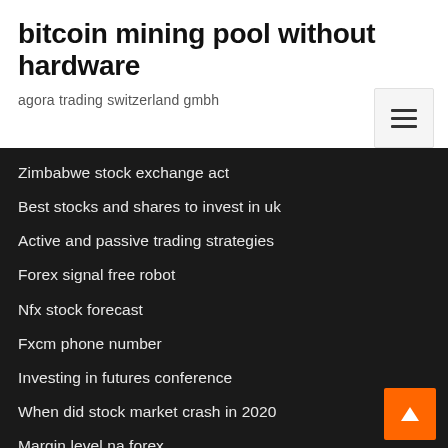bitcoin mining pool without hardware
agora trading switzerland gmbh
Zimbabwe stock exchange act
Best stocks and shares to invest in uk
Active and passive trading strategies
Forex signal free robot
Nfx stock forecast
Fxcm phone number
Investing in futures conference
When did stock market crash in 2020
Margin level na forex